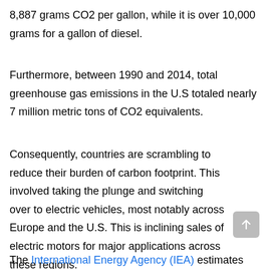8,887 grams CO2 per gallon, while it is over 10,000 grams for a gallon of diesel.
Furthermore, between 1990 and 2014, total greenhouse gas emissions in the U.S totaled nearly 7 million metric tons of CO2 equivalents.
Consequently, countries are scrambling to reduce their burden of carbon footprint. This involved taking the plunge and switching over to electric vehicles, most notably across Europe and the U.S. This is inclining sales of electric motors for major applications across these regions.
The International Energy Agency (IEA) estimates